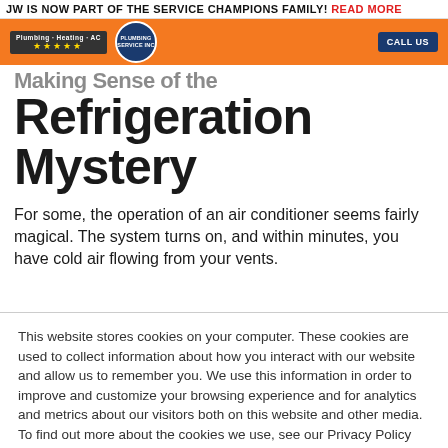JW IS NOW PART OF THE SERVICE CHAMPIONS FAMILY! READ MORE
[Figure (screenshot): Orange navigation bar with blue badge showing plumbing/heating/AC stars rating and circular plumbing service logo, plus a dark blue button on the right]
Making Sense of the Refrigeration Mystery
For some, the operation of an air conditioner seems fairly magical. The system turns on, and within minutes, you have cold air flowing from your vents.
This website stores cookies on your computer. These cookies are used to collect information about how you interact with our website and allow us to remember you. We use this information in order to improve and customize your browsing experience and for analytics and metrics about our visitors both on this website and other media. To find out more about the cookies we use, see our Privacy Policy